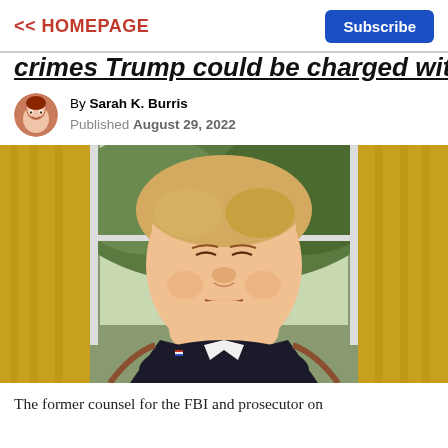<< HOMEPAGE | Subscribe
crimes Trump could be charged with
By Sarah K. Burris
Published August 29, 2022
[Figure (photo): Photo of Donald Trump with eyes closed, seated in what appears to be the Oval Office, with a window and golden curtains in the background.]
The former counsel for the FBI and prosecutor on